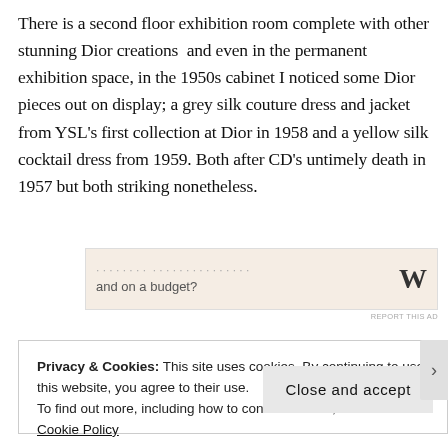There is a second floor exhibition room complete with other stunning Dior creations  and even in the permanent exhibition space, in the 1950s cabinet I noticed some Dior pieces out on display; a grey silk couture dress and jacket from YSL's first collection at Dior in 1958 and a yellow silk cocktail dress from 1959. Both after CD's untimely death in 1957 but both striking nonetheless.
[Figure (screenshot): Partially visible advertisement banner with beige background showing text 'Need a website quickly, and on a budget?' and WordPress logo (W)]
REPORT THIS AD
Privacy & Cookies: This site uses cookies. By continuing to use this website, you agree to their use.
To find out more, including how to control cookies, see here: Cookie Policy
Close and accept